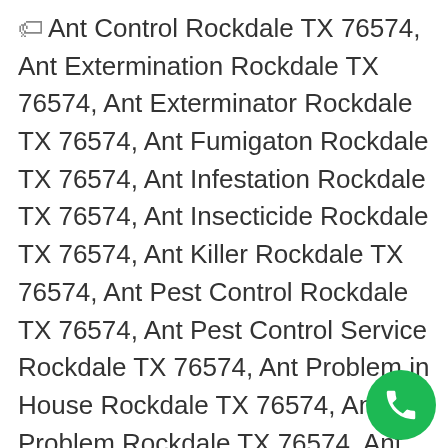Ant Control Rockdale TX 76574, Ant Extermination Rockdale TX 76574, Ant Exterminator Rockdale TX 76574, Ant Fumigaton Rockdale TX 76574, Ant Infestation Rockdale TX 76574, Ant Insecticide Rockdale TX 76574, Ant Killer Rockdale TX 76574, Ant Pest Control Rockdale TX 76574, Ant Pest Control Service Rockdale TX 76574, Ant Problem in House Rockdale TX 76574, Ant Problem Rockdale TX 76574, Ant Removal Rockdale TX 76574, Ant Treatment Rockdale TX 76574, Ants in House Rockdale TX 76574, Carpenter Ant Control Rockdale TX 76574, Carpenter Ant Killer Rockdale TX 76574, Fire Ant Control Rockdale TX 76574, Fire Ant Killer Rockdale TX 76574, Getting